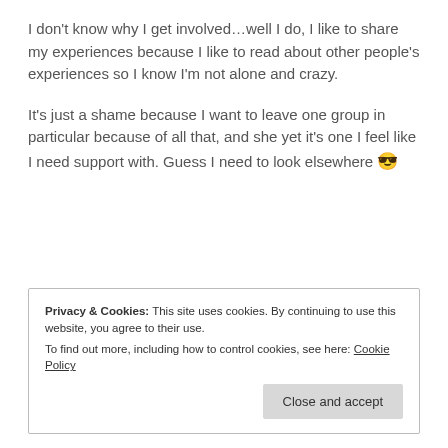I don't know why I get involved...well I do, I like to share my experiences because I like to read about other people's experiences so I know I'm not alone and crazy.
It's just a shame because I want to leave one group in particular because of all that, and she yet it's one I feel like I need support with. Guess I need to look elsewhere 😎
Advertisements
[Figure (logo): Pressable logo with black square P icon and 'Pressable' wordmark, followed by dotted line]
Privacy & Cookies: This site uses cookies. By continuing to use this website, you agree to their use. To find out more, including how to control cookies, see here: Cookie Policy